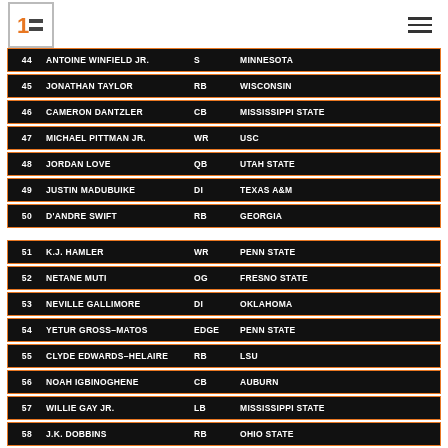1F logo and hamburger menu
| # | NAME | POS | SCHOOL |
| --- | --- | --- | --- |
| 44 | ANTOINE WINFIELD JR. | S | MINNESOTA |
| 45 | JONATHAN TAYLOR | RB | WISCONSIN |
| 46 | CAMERON DANTZLER | CB | MISSISSIPPI STATE |
| 47 | MICHAEL PITTMAN JR. | WR | USC |
| 48 | JORDAN LOVE | QB | UTAH STATE |
| 49 | JUSTIN MADUBUIKE | DI | TEXAS A&M |
| 50 | D'ANDRE SWIFT | RB | GEORGIA |
| # | NAME | POS | SCHOOL |
| --- | --- | --- | --- |
| 51 | K.J. HAMLER | WR | PENN STATE |
| 52 | NETANE MUTI | OG | FRESNO STATE |
| 53 | NEVILLE GALLIMORE | DI | OKLAHOMA |
| 54 | YETUR GROSS-MATOS | EDGE | PENN STATE |
| 55 | CLYDE EDWARDS-HELAIRE | RB | LSU |
| 56 | NOAH IGBINOGHENE | CB | AUBURN |
| 57 | WILLIE GAY JR. | LB | MISSISSIPPI STATE |
| 58 | J.K. DOBBINS | RB | OHIO STATE |
| 59 | BRYCE HALL | CB | VIRGINIA |
| 60 | TROY DYE | LB | OREGON |